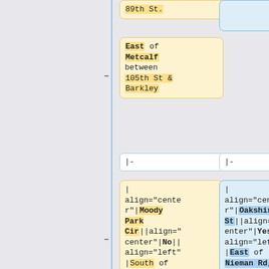[Figure (flowchart): Flowchart/diff view showing wiki table markup nodes with yellow (original) and blue (new) boxes connected by minus and plus connectors. Top left box shows '89th St.', second yellow box shows 'East of Metcalf between 105th St & Barkley', white boxes show '|-', large yellow box shows wiki markup for Moody Park Cir entry, large blue box shows wiki markup for Oakshire St entry.]